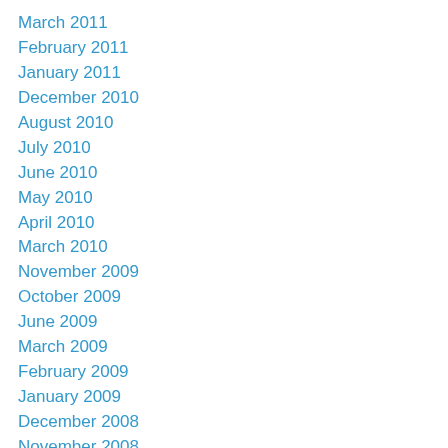March 2011
February 2011
January 2011
December 2010
August 2010
July 2010
June 2010
May 2010
April 2010
March 2010
November 2009
October 2009
June 2009
March 2009
February 2009
January 2009
December 2008
November 2008
October 2008
September 2008